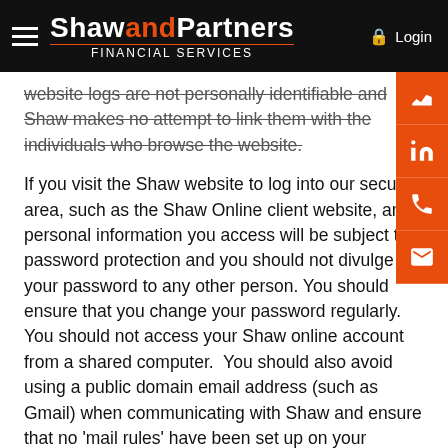Shaw and Partners Financial Services — Login
website logs are not personally identifiable and Shaw makes no attempt to link them with the individuals who browse the website.
If you visit the Shaw website to log into our secure area, such as the Shaw Online client website, any personal information you access will be subject to password protection and you should not divulge your password to any other person. You should ensure that you change your password regularly. You should not access your Shaw online account from a shared computer. You should also avoid using a public domain email address (such as Gmail) when communicating with Shaw and ensure that no 'mail rules' have been set up on your account to divert legitimate Shaw correspondence. To further protect your personal information, your login time will automatically expire after a certain period.